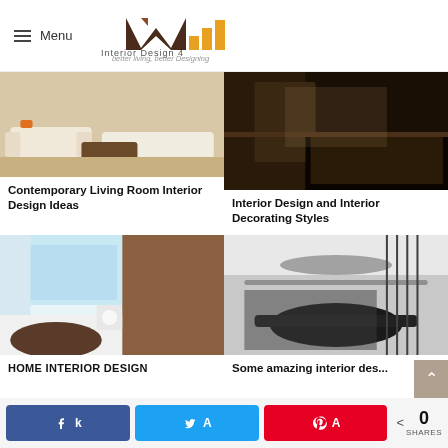Menu | Interior Design 4 - better living, better Designing
[Figure (photo): Contemporary living room with white sofas and dark coffee table on patterned rug]
Contemporary Living Room Interior Design Ideas
[Figure (photo): Dark interior room with rug on dark hardwood floor]
Interior Design and Interior Decorating Styles
[Figure (photo): Modern bright living room with large windows, circular sofa and marble floors]
HOME INTERIOR DESIGN
[Figure (photo): Sleek dark modern conference/game room with oval table and black chairs]
Some amazing interior des...
0 SHARES | Facebook | Twitter | Pinterest